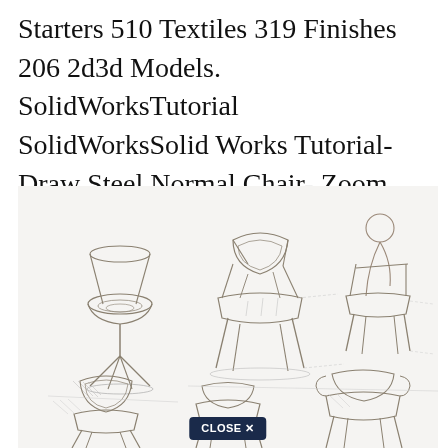Starters 510 Textiles 319 Finishes 206 2d3d Models. SolidWorksTutorial SolidWorksSolid Works Tutorial- Draw Steel Normal Chair- Zoom Story.
[Figure (illustration): Pencil sketch drawing showing multiple chair design concept sketches from various angles, including side profiles, perspective views, and a seated figure outline. Chairs show different styles including tulip-style, molded shell, and armchair designs. A 'CLOSE X' button appears at the bottom center of the image.]